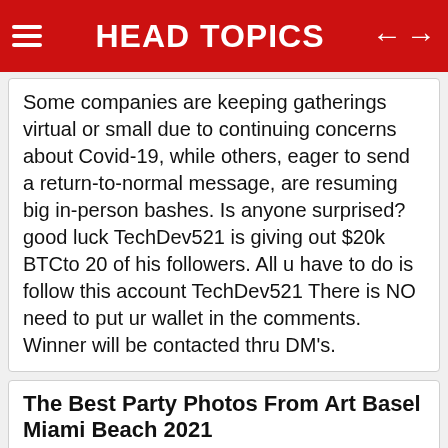HEAD TOPICS
Some companies are keeping gatherings virtual or small due to continuing concerns about Covid-19, while others, eager to send a return-to-normal message, are resuming big in-person bashes. Is anyone surprised? good luck TechDev521 is giving out $20k BTCto 20 of his followers. All u have to do is follow this account TechDev521 There is NO need to put ur wallet in the comments. Winner will be contacted thru DM's.
The Best Party Photos From Art Basel Miami Beach 2021